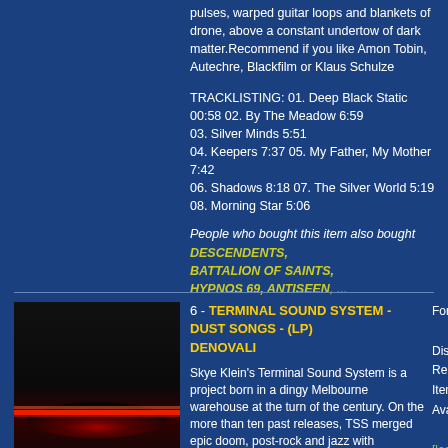pulses, warped guitar loops and blankets of drone, above a constant undertow of dark matter.Recommend if you like Amon Tobin, Autechre, Blackfilm or Klaus Schulze
TRACKLISTING: 01. Deep Black Static 00:58 02. By The Meadow 6:59 03. Silver Minds 5:51 04. Keepers 7:37 05. My Father, My Mother 7:42 06. Shadows 8:18 07. The Silver World 5:19 08. Morning Star 5:06
People who bought this item also bought DESCENDENTS, BATTALION OF SAINTS, HYPNOS 69, ANTISEEN, ...
[Figure (photo): Album cover art for Terminal Sound System - Dust Songs, dark image with red glow/light]
6 - TERMINAL SOUND SYSTEM - DUST SONGS - (LP) DENOVALI
Format: LP
Disc Quantity: 2
Release date: 12-12-2014
Item # : 470984
Availability: IN STOCK
[login]
Skye Klein's Terminal Sound System is a project born in a dingy Melbourne warehouse at the turn of the century. On the more than ten past releases, TSS merged epic doom, post-rock and jazz with electronica, drum'n'bass